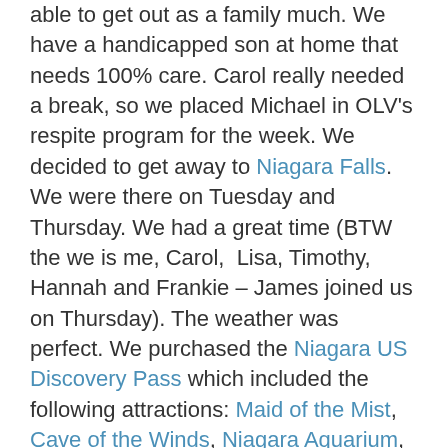able to get out as a family much. We have a handicapped son at home that needs 100% care. Carol really needed a break, so we placed Michael in OLV's respite program for the week. We decided to get away to Niagara Falls. We were there on Tuesday and Thursday. We had a great time (BTW the we is me, Carol,  Lisa, Timothy, Hannah and Frankie – James joined us on Thursday). The weather was perfect. We purchased the Niagara US Discovery Pass which included the following attractions: Maid of the Mist, Cave of the Winds, Niagara Aquarium, Niagara Gorge Discovery Center, Niagara: Legends of Adventure Movie, and the Niagara Scenic Trolley transportation all day. I highly recommended this package.
I delayed taking some of my HCV treatment